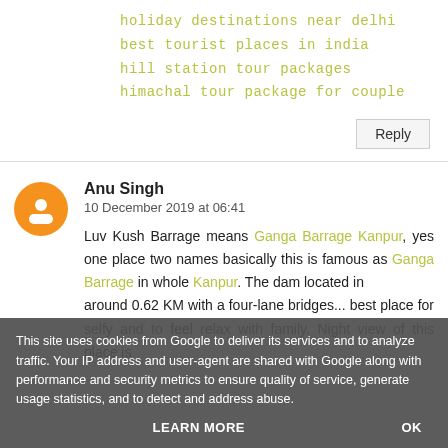holiday destinations near delhi
best tourist places in india
hill station tour packages
himachal tour package for couple
Reply
Anu Singh
10 December 2019 at 06:41
Luv Kush Barrage means Ganga Barrage Kanpur, yes one place two names basically this is famous as Ganga Barrage in whole Kanpur. The dam located in around 0.62 KM with a four-lane bridges... best place for selfy and to feel relax with family. Night view of this place is
This site uses cookies from Google to deliver its services and to analyze traffic. Your IP address and user-agent are shared with Google along with performance and security metrics to ensure quality of service, generate usage statistics, and to detect and address abuse.